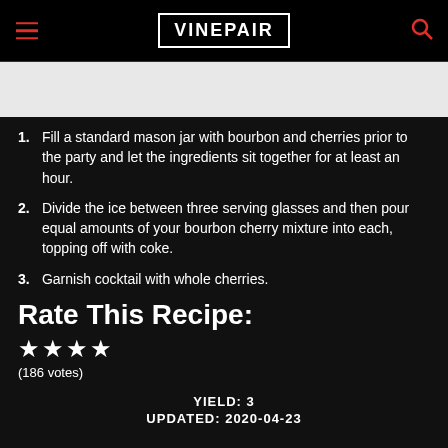VINEPAIR
[Figure (photo): White/light colored image strip, likely a cocktail photo]
1. Fill a standard mason jar with bourbon and cherries prior to the party and let the ingredients sit together for at least an hour.
2. Divide the ice between three serving glasses and then pour equal amounts of your bourbon cherry mixture into each, topping off with coke.
3. Garnish cocktail with whole cherries.
Rate This Recipe:
★★★★
(186 votes)
YIELD: 3
UPDATED: 2020-04-23